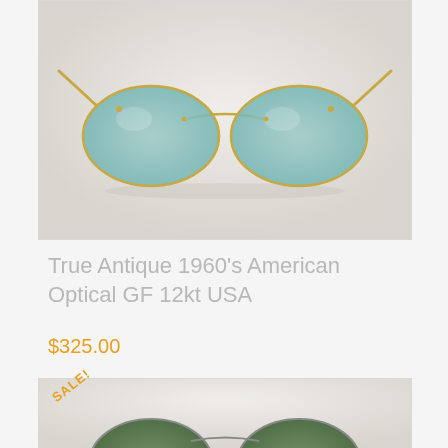[Figure (photo): Vintage round sunglasses with gold metal frame and light blue/teal lenses, photographed on a light gray/white background. True Antique 1960s American Optical style.]
True Antique 1960’s American Optical GF 12kt USA
$325.00
[Figure (photo): Second product listing with SALE badge. Vintage sunglasses partially visible at bottom of page with dark green tinted lenses.]